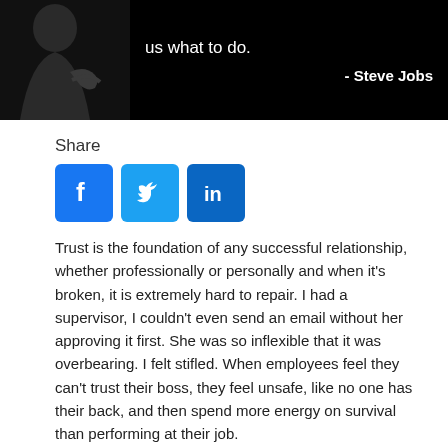[Figure (photo): Black and white photo of Steve Jobs with quote text overlay: 'us what to do.' and '- Steve Jobs']
Share
[Figure (infographic): Social media share buttons: Facebook (blue f logo), Twitter (blue bird logo), LinkedIn (blue in logo)]
Trust is the foundation of any successful relationship, whether professionally or personally and when it's broken, it is extremely hard to repair. I had a supervisor, I couldn't even send an email without her approving it first. She was so inflexible that it was overbearing. I felt stifled. When employees feel they can't trust their boss, they feel unsafe, like no one has their back, and then spend more energy on survival than performing at their job.
The...